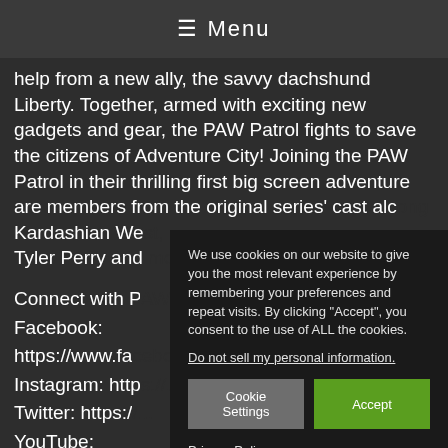☰ Menu
help from a new ally, the savvy dachshund Liberty. Together, armed with exciting new gadgets and gear, the PAW Patrol fights to save the citizens of Adventure City! Joining the PAW Patrol in their thrilling first big screen adventure are members from the original series' cast alc... Kardashian We... Tyler Perry and...
Connect with P... Facebook: https://www.fa... Instagram: http... Twitter: https:/... YouTube: https://www.youtube.com/paramountpicturesuk
We use cookies on our website to give you the most relevant experience by remembering your preferences and repeat visits. By clicking "Accept", you consent to the use of ALL the cookies.
Do not sell my personal information.
Cookie Settings | Accept
Privacy Policy